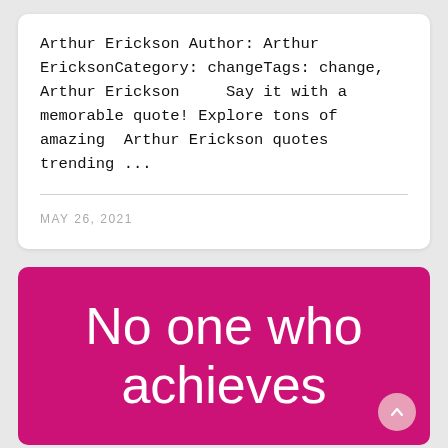Arthur Erickson Author: Arthur EricksonCategory: changeTags: change, Arthur Erickson    Say it with a memorable quote! Explore tons of amazing  Arthur Erickson quotes trending ...
MAY 26, 2021
[Figure (other): Magenta/pink background card with large white text reading 'No one who achieves' and a scroll-to-top button in the bottom right corner]